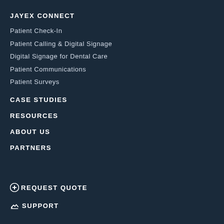JAYEX CONNECT
Patient Check-In
Patient Calling & Digital Signage
Digital Signage for Dental Care
Patient Communications
Patient Surveys
CASE STUDIES
RESOURCES
ABOUT US
PARTNERS
REQUEST QUOTE
SUPPORT